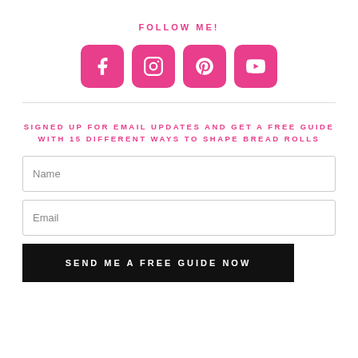FOLLOW ME!
[Figure (infographic): Four pink rounded square social media icons: Facebook, Instagram, Pinterest, YouTube]
SIGNED UP FOR EMAIL UPDATES AND GET A FREE GUIDE WITH 15 DIFFERENT WAYS TO SHAPE BREAD ROLLS
Name
Email
SEND ME A FREE GUIDE NOW